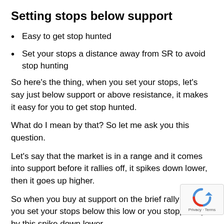Setting stops below support
Easy to get stop hunted
Set your stops a distance away from SR to avoid stop hunting
So here's the thing, when you set your stops, let's say just below support or above resistance, it makes it easy for you to get stop hunted.
What do I mean by that? So let me ask you this question.
Let's say that the market is in a range and it comes into support before it rallies off, it spikes down lower, then it goes up higher.
So when you buy at support on the brief rally here, you set your stops below this low or you stopped up by this spike down lower.